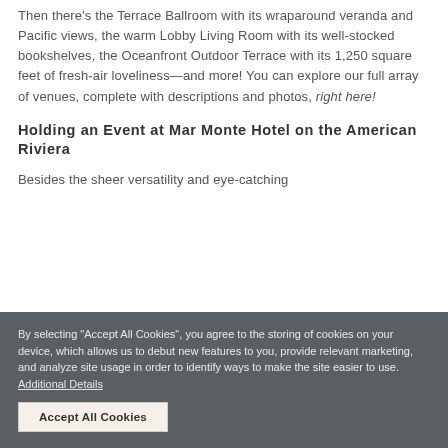Then there's the Terrace Ballroom with its wraparound veranda and Pacific views, the warm Lobby Living Room with its well-stocked bookshelves, the Oceanfront Outdoor Terrace with its 1,250 square feet of fresh-air loveliness—and more! You can explore our full array of venues, complete with descriptions and photos, right here!
Holding an Event at Mar Monte Hotel on the American Riviera
Besides the sheer versatility and eye-catching
By selecting "Accept All Cookies", you agree to the storing of cookies on your device, which allows us to debut new features to you, provide relevant marketing, and analyze site usage in order to identify ways to make the site easier to use. Additional Details
Accept All Cookies